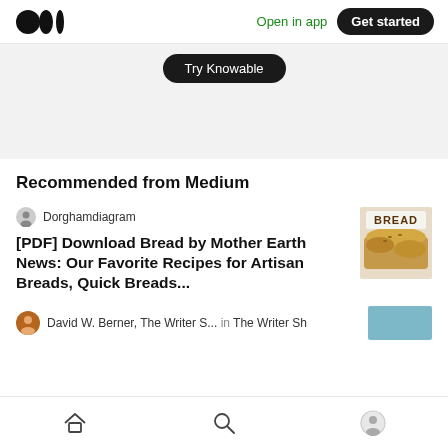Open in app | Get started
Try Knowable
Recommended from Medium
Dorghamdiagram
[PDF] Download Bread by Mother Earth News: Our Favorite Recipes for Artisan Breads, Quick Breads...
[Figure (photo): Book cover thumbnail for 'Bread' by Mother Earth News showing baked bread loaves]
David W. Berner, The Writer S... in The Writer Sh